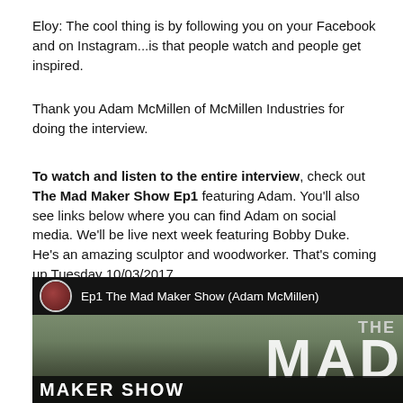Eloy: The cool thing is by following you on your Facebook and on Instagram...is that people watch and people get inspired.
Thank you Adam McMillen of McMillen Industries for doing the interview.
To watch and listen to the entire interview, check out The Mad Maker Show Ep1 featuring Adam. You'll also see links below where you can find Adam on social media. We'll be live next week featuring Bobby Duke. He's an amazing sculptor and woodworker. That's coming up Tuesday 10/03/2017.
[Figure (screenshot): Video thumbnail for 'Ep1 The Mad Maker Show (Adam McMillen)' with a dark header bar showing a circular avatar and title text. Background shows outdoor scenery with large white bold text 'THE MAD' on the right and 'MAKER SHOW' in a dark bar at the bottom.]